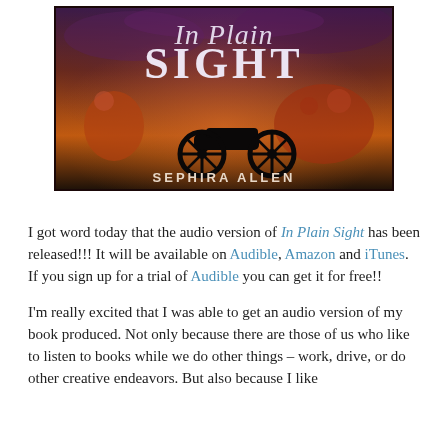[Figure (illustration): Book cover for 'In Plain Sight' by Sephira Allen. Dark purple smoky background with Civil War battle scene — soldiers, horses, cannon. Title 'In Plain Sight' in stylized script and serif font at top; author name 'SEPHIRA ALLEN' at bottom.]
I got word today that the audio version of In Plain Sight has been released!!! It will be available on Audible, Amazon and iTunes. If you sign up for a trial of Audible you can get it for free!!
I'm really excited that I was able to get an audio version of my book produced. Not only because there are those of us who like to listen to books while we do other things – work, drive, or do other creative endeavors. But also because I like